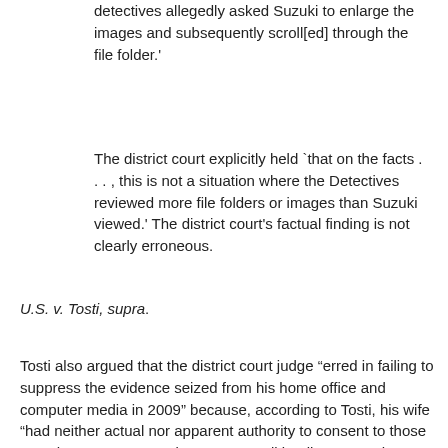detectives allegedly asked Suzuki to enlarge the images and subsequently scroll[ed] through the file folder.'
The district court explicitly held `that on the facts . . . , this is not a situation where the Detectives reviewed more file folders or images than Suzuki viewed.' The district court's factual finding is not clearly erroneous.
U.S. v. Tosti, supra.
Tosti also argued that the district court judge “erred in failing to suppress the evidence seized from his home office and computer media in 2009” because, according to Tosti, his wife “had neither actual nor apparent authority to consent to those searches.”  U.S. v. Tosti, supra.  As Wikipedia notes, when someone consents to a